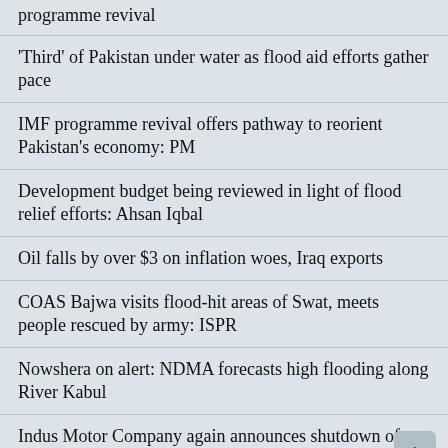programme revival
'Third' of Pakistan under water as flood aid efforts gather pace
IMF programme revival offers pathway to reorient Pakistan's economy: PM
Development budget being reviewed in light of flood relief efforts: Ahsan Iqbal
Oil falls by over $3 on inflation woes, Iraq exports
COAS Bajwa visits flood-hit areas of Swat, meets people rescued by army: ISPR
Nowshera on alert: NDMA forecasts high flooding along River Kabul
Indus Motor Company again announces shutdown of plant from Sep 1 to Sep 16
Pakistani e-commerce platform PriceOye...